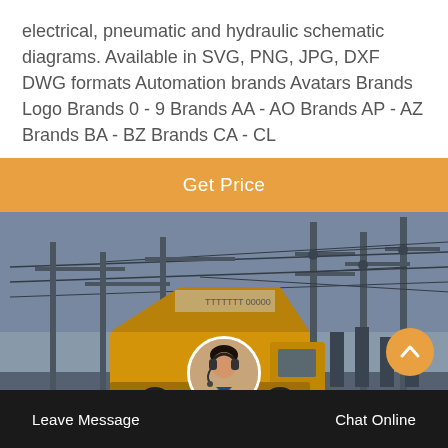electrical, pneumatic and hydraulic schematic diagrams. Available in SVG, PNG, JPG, DXF DWG formats Automation brands Avatars Brands Logo Brands 0 - 9 Brands AA - AO Brands AP - AZ Brands BA - BZ Brands CA - CL
Get Price
[Figure (photo): Photo of an electrical substation with tall poles, overhead wires and cables, and a yellow construction truck in the foreground under a grey sky.]
Leave Message
Chat Online